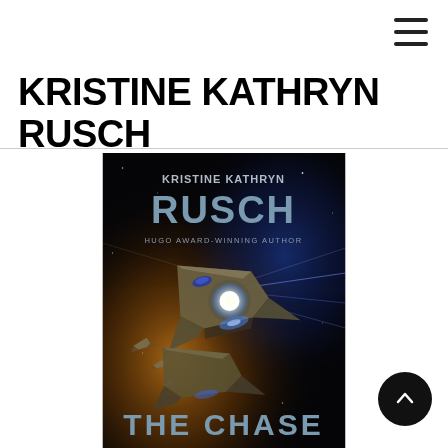≡ (hamburger menu icon)
KRISTINE KATHRYN RUSCH
[Figure (illustration): Book cover for 'The Chase' by Kristine Kathryn Rusch. Dark space background with a large spacecraft and smaller ships, dramatic lighting with a bright central flash. Text on cover reads: KRISTINE KATHRYN RUSCH, HUGO AWARD-WINNING AUTHOR, THE CHASE.]